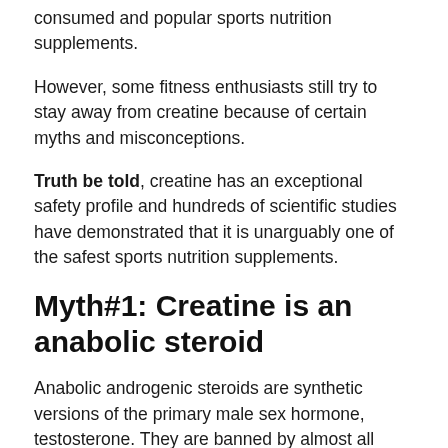consumed and popular sports nutrition supplements.
However, some fitness enthusiasts still try to stay away from creatine because of certain myths and misconceptions.
Truth be told, creatine has an exceptional safety profile and hundreds of scientific studies have demonstrated that it is unarguably one of the safest sports nutrition supplements.
Myth#1: Creatine is an anabolic steroid
Anabolic androgenic steroids are synthetic versions of the primary male sex hormone, testosterone. They are banned by almost all sports bodies and under the Controlled Substances Act (CSA). Steroids